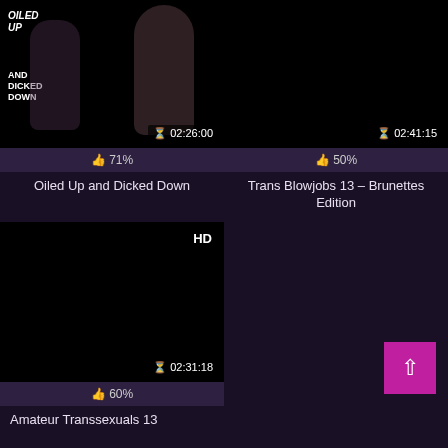[Figure (screenshot): Video thumbnail for 'Oiled Up and Dicked Down' showing duration 02:26:00 and rating 71%]
Oiled Up and Dicked Down
[Figure (screenshot): Black video thumbnail for 'Trans Blowjobs 13 – Brunettes Edition' showing duration 02:41:15 and rating 50%]
Trans Blowjobs 13 – Brunettes Edition
[Figure (screenshot): HD black video thumbnail for 'Amateur Transsexuals 13' showing duration 02:31:18 and rating 60%]
Amateur Transsexuals 13